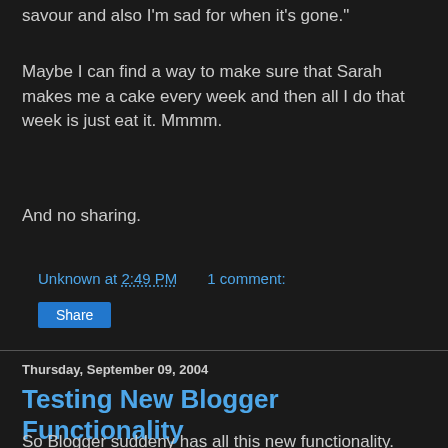savour and also I'm sad for when it's gone."
Maybe I can find a way to make sure that Sarah makes me a cake every week and then all I do that week is just eat it. Mmmm.
And no sharing.
Unknown at 2:49 PM   1 comment:
Share
Thursday, September 09, 2004
Testing New Blogger Functionality
So Blogger suddeny has all this new functionality. You can send my posts to
a friend via email. I can email a post to publish on my site. It's crazy.
How do they manage to offer this for free? I'm pretty sure I should take